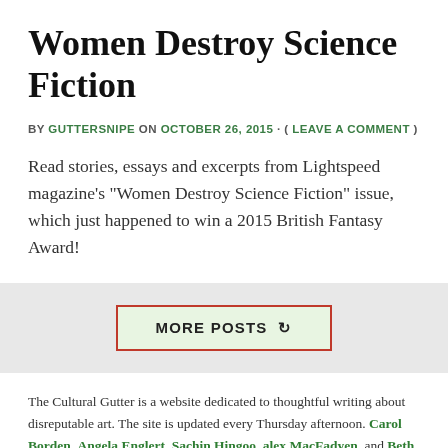Women Destroy Science Fiction
BY GUTTERSNIPE ON OCTOBER 26, 2015 · ( LEAVE A COMMENT )
Read stories, essays and excerpts from Lightspeed magazine's "Women Destroy Science Fiction" issue, which just happened to win a 2015 British Fantasy Award!
MORE POSTS ↺
The Cultural Gutter is a website dedicated to thoughtful writing about disreputable art. The site is updated every Thursday afternoon. Carol Borden, Angela Englert, Sachin Hingoo, alex MacFadyen, and Beth Watkins probe science fiction, draw out the best in comics, stare deeply into the screen, sink their fangs into horror, dally with romance, speedrun their brains on videogames and explore so much more. Our Guest Stars shine here. Thanks to Gutter aesthetic director Brian Kirby for all his swank